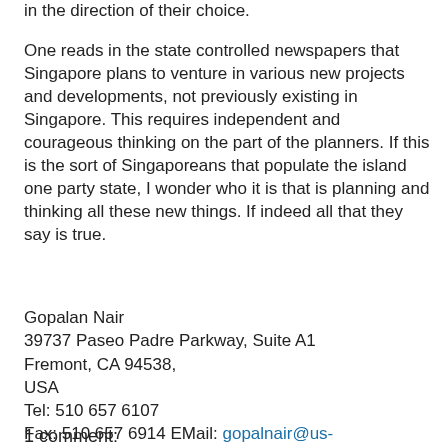in the direction of their choice.
One reads in the state controlled newspapers that Singapore plans to venture in various new projects and developments, not previously existing in Singapore. This requires independent and courageous thinking on the part of the planners. If this is the sort of Singaporeans that populate the island one party state, I wonder who it is that is planning and thinking all these new things. If indeed all that they say is true.
Gopalan Nair
39737 Paseo Padre Parkway, Suite A1
Fremont, CA 94538,
USA
Tel: 510 657 6107
Fax: 510 657 6914 EMail: gopalnair@us-immigrationlaw.com
Gopalan Nair at 10:01 AM
1 comment: